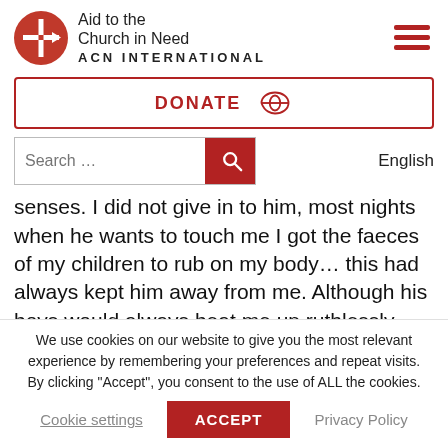[Figure (logo): Aid to the Church in Need ACN International logo with red circle and cross/arrow icon]
DONATE
Search ...
English
senses. I did not give in to him, most nights when he wants to touch me I got the faeces of my children to rub on my body... this had always kept him away from me. Although his boys would always beat me up ruthlessly. They made me
We use cookies on our website to give you the most relevant experience by remembering your preferences and repeat visits. By clicking “Accept”, you consent to the use of ALL the cookies.
Cookie settings
ACCEPT
Privacy Policy